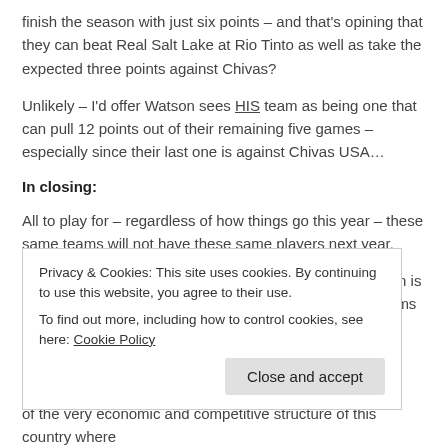finish the season with just six points – and that's opining that they can beat Real Salt Lake at Rio Tinto as well as take the expected three points against Chivas?
Unlikely – I'd offer Watson sees HIS team as being one that can pull 12 points out of their remaining five games – especially since their last one is against Chivas USA…
In closing:
All to play for – regardless of how things go this year – these same teams will not have these same players next year.
One thing about MLS is that variation in team composition is consistent – the expansion draft is likely to see a few teams lose at least two players – r… t… th…
Privacy & Cookies: This site uses cookies. By continuing to use this website, you agree to their use.
To find out more, including how to control cookies, see here: Cookie Policy
of the very economic and competitive structure of this country where